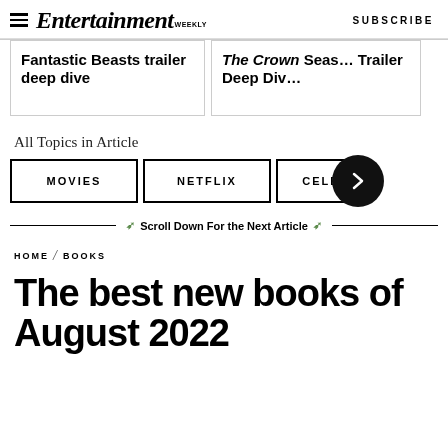Entertainment Weekly — SUBSCRIBE
Fantastic Beasts trailer deep dive
The Crown Season Trailer Deep Dive
All Topics in Article
MOVIES
NETFLIX
CELE
Scroll Down For the Next Article
HOME / BOOKS
The best new books of August 2022